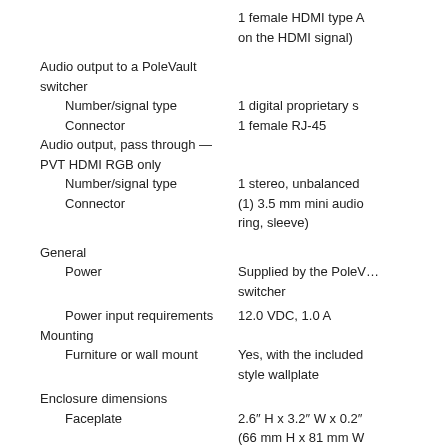1 female HDMI type A … on the HDMI signal)
Audio output to a PoleVault switcher
Number/signal type — 1 digital proprietary s…
Connector — 1 female RJ-45
Audio output, pass through — PVT HDMI RGB only
Number/signal type — 1 stereo, unbalanced
Connector — (1) 3.5 mm mini audio … ring, sleeve)
General
Power — Supplied by the PoleVault switcher
Power input requirements — 12.0 VDC, 1.0 A
Mounting
Furniture or wall mount — Yes, with the included … style wallplate
Enclosure dimensions
Faceplate — 2.6" H x 3.2" W x 0.2" … (66 mm H x 81 mm W … (Fits the openings in a decorator-style wallpl…
Device — 2.7" H* x 3.6" W x 2.0" … (68 mm H x 91…